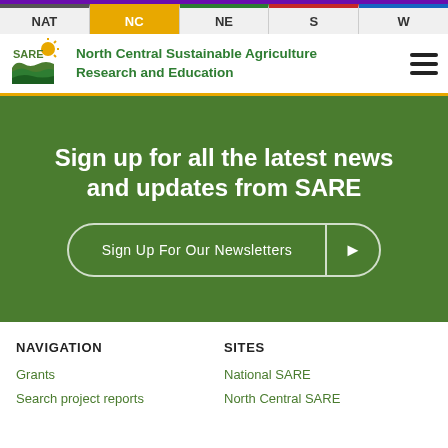NAT | NC | NE | S | W
[Figure (logo): SARE logo with sun and field rows graphic]
North Central Sustainable Agriculture Research and Education
Sign up for all the latest news and updates from SARE
Sign Up For Our Newsletters
NAVIGATION
Grants
Search project reports
SITES
National SARE
North Central SARE